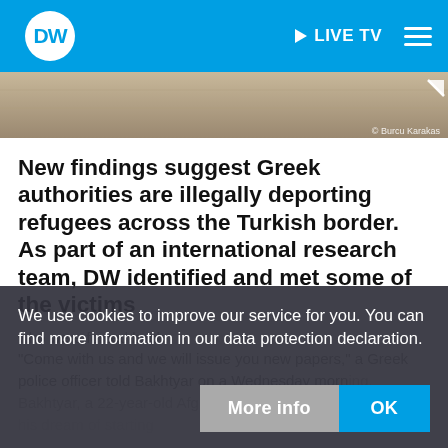DW | LIVE TV
[Figure (photo): Partial photo strip showing a tan/brown surface, possibly a wall or ground, with a copyright credit reading Burcu Karakas]
New findings suggest Greek authorities are illegally deporting refugees across the Turkish border. As part of an international research team, DW identified and met some of the victims who were forced back.
"Come with us and we will issue you new papers," a Greek police officer told Bakhtyar on a Wednesday morning. Bakhtyar, a 22-year-old Afghan man, thought this was the key to realizing his dream of starting
We use cookies to improve our service for you. You can find more information in our data protection declaration.